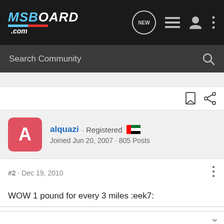[Figure (screenshot): MSBoard.com website navigation bar with logo, new posts bubble, list icon, user icon, and menu dots]
Search Community
alquazi · Registered
Joined Jun 20, 2007 · 805 Posts
#2 · Dec 19, 2010
WOW 1 pound for every 3 miles :eek7: